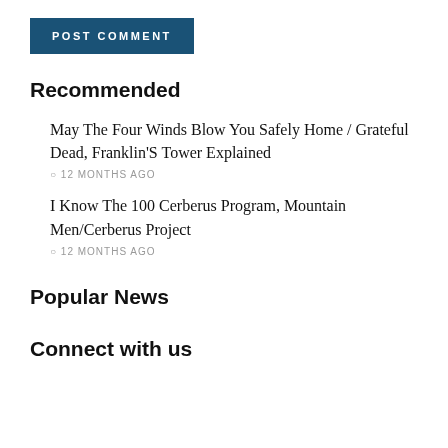[Figure (other): Blue button labeled POST COMMENT]
Recommended
May The Four Winds Blow You Safely Home / Grateful Dead, Franklin&#39S Tower Explained
12 MONTHS AGO
I Know The 100 Cerberus Program, Mountain Men/Cerberus Project
12 MONTHS AGO
Popular News
Connect with us